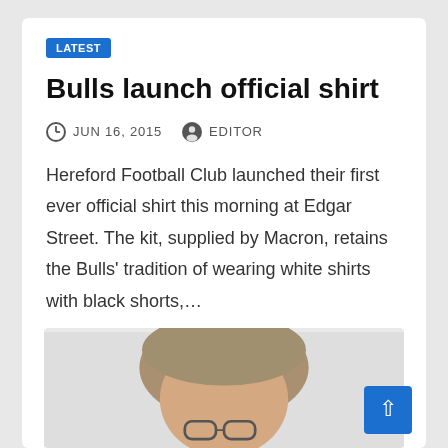LATEST
Bulls launch official shirt
JUN 16, 2015   EDITOR
Hereford Football Club launched their first ever official shirt this morning at Edgar Street. The kit, supplied by Macron, retains the Bulls' tradition of wearing white shirts with black shorts,…
[Figure (photo): Partial photo of a person's head and upper face, cropped at the bottom of the card]